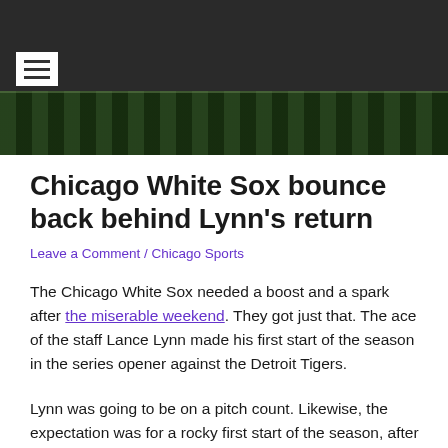[Navigation header with hamburger menu and stadium background image]
Chicago White Sox bounce back behind Lynn’s return
Leave a Comment / Chicago Sports
The Chicago White Sox needed a boost and a spark after the miserable weekend. They got just that. The ace of the staff Lance Lynn made his first start of the season in the series opener against the Detroit Tigers.
Lynn was going to be on a pitch count. Likewise, the expectation was for a rocky first start of the season, after all, he’s finding his footing for the first time this year. However, the game helped